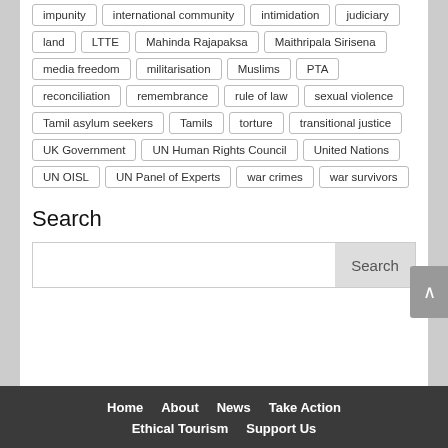impunity
international community
intimidation
judiciary
land
LTTE
Mahinda Rajapaksa
Maithripala Sirisena
media freedom
militarisation
Muslims
PTA
reconciliation
remembrance
rule of law
sexual violence
Tamil asylum seekers
Tamils
torture
transitional justice
UK Government
UN Human Rights Council
United Nations
UN OISL
UN Panel of Experts
war crimes
war survivors
Search
Home   About   News   Take Action   Ethical Tourism   Support Us